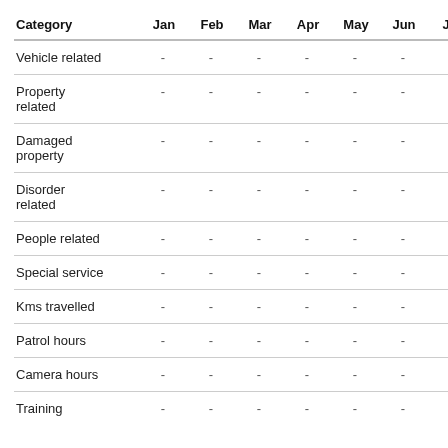| Category | Jan | Feb | Mar | Apr | May | Jun | Jul | Aug |
| --- | --- | --- | --- | --- | --- | --- | --- | --- |
| Vehicle related | - | - | - | - | - | - | - | - |
| Property related | - | - | - | - | - | - | - | - |
| Damaged property | - | - | - | - | - | - | - | - |
| Disorder related | - | - | - | - | - | - | - | - |
| People related | - | - | - | - | - | - | - | - |
| Special service | - | - | - | - | - | - | - | - |
| Kms travelled | - | - | - | - | - | - | - | - |
| Patrol hours | - | - | - | - | - | - | - | - |
| Camera hours | - | - | - | - | - | - | - | - |
| Training | - | - | - | - | - | - | - | - |